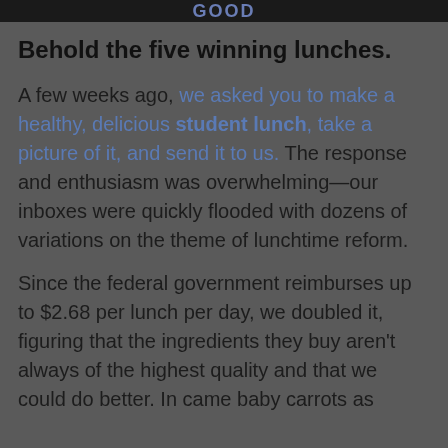GOOD
Behold the five winning lunches.
A few weeks ago, we asked you to make a healthy, delicious student lunch, take a picture of it, and send it to us. The response and enthusiasm was overwhelming—our inboxes were quickly flooded with dozens of variations on the theme of lunchtime reform.
Since the federal government reimburses up to $2.68 per lunch per day, we doubled it, figuring that the ingredients they buy aren't always of the highest quality and that we could do better. In came baby carrots as